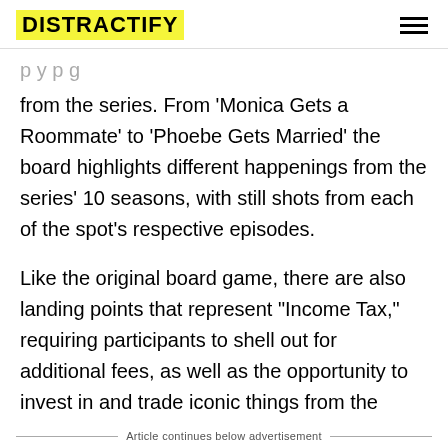DISTRACTIFY
from the series. From 'Monica Gets a Roommate' to 'Phoebe Gets Married' the board highlights different happenings from the series' 10 seasons, with still shots from each of the spot's respective episodes.
Like the original board game, there are also landing points that represent "Income Tax," requiring participants to shell out for additional fees, as well as the opportunity to invest in and trade iconic things from the classic sofa to coffee mugs. It's wholesome, and adorable, and let's face it, we're totally in love.
Article continues below advertisement